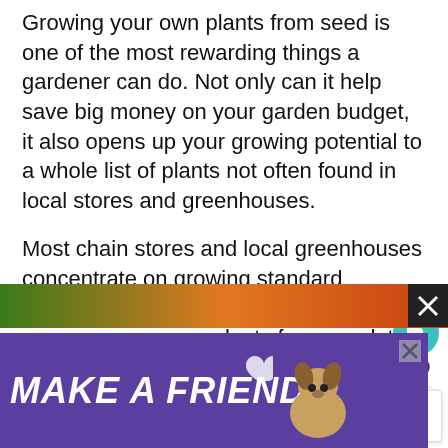Growing your own plants from seed is one of the most rewarding things a gardener can do. Not only can it help save big money on your garden budget, it also opens up your growing potential to a whole list of plants not often found in local stores and greenhouses.
Most chain stores and local greenhouses concentrate on growing standard vegetable and flower plants. But when you grow your own plants from seed, the sky is the...
[Figure (photo): Colorful strip image at bottom showing garden plants/vegetables in orange, red and green tones]
[Figure (infographic): Advertisement banner with purple background reading MAKE A FRIEND with heart icon and dog illustration]